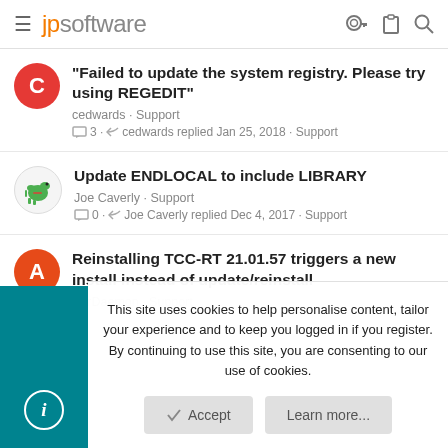jpsoftware
"Failed to update the system registry. Please try using REGEDIT"
cedwards · Support
3 · cedwards replied Jan 25, 2018 · Support
Update ENDLOCAL to include LIBRARY
Joe Caverly · Support
0 · Joe Caverly replied Dec 4, 2017 · Support
Reinstalling TCC-RT 21.01.57 triggers a new install instead of update/reinstall
AprDaemon · Support
This site uses cookies to help personalise content, tailor your experience and to keep you logged in if you register. By continuing to use this site, you are consenting to our use of cookies.